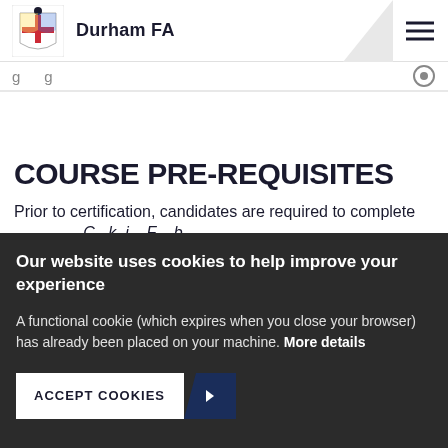Durham FA
COURSE PRE-REQUISITES
Prior to certification, candidates are required to complete
Our website uses cookies to help improve your experience
A functional cookie (which expires when you close your browser) has already been placed on your machine. More details
ACCEPT COOKIES